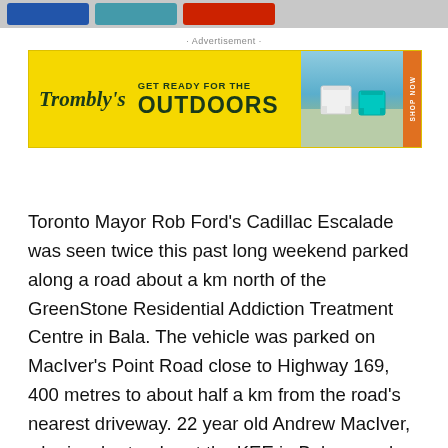[Navigation bar with buttons]
· Advertisement ·
[Figure (other): Trombly's advertisement banner: 'GET READY FOR THE OUTDOORS' on yellow background with outdoor chairs photo and orange SHOP NOW tab]
Toronto Mayor Rob Ford's Cadillac Escalade was seen twice this past long weekend parked along a road about a km north of the GreenStone Residential Addiction Treatment Centre in Bala. The vehicle was parked on MacIver's Point Road close to Highway 169, 400 metres to about half a km from the road's nearest driveway. 22 year old Andrew MacIver, who is a bartender at the KEE in Bala, says he first spotted it at 2:30am Sunday when he was returning to his cottage after work. MacIver snapped some pictures and compared it with